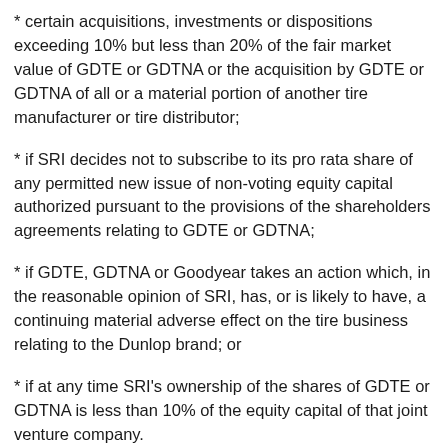* certain acquisitions, investments or dispositions exceeding 10% but less than 20% of the fair market value of GDTE or GDTNA or the acquisition by GDTE or GDTNA of all or a material portion of another tire manufacturer or tire distributor;
* if SRI decides not to subscribe to its pro rata share of any permitted new issue of non-voting equity capital authorized pursuant to the provisions of the shareholders agreements relating to GDTE or GDTNA;
* if GDTE, GDTNA or Goodyear takes an action which, in the reasonable opinion of SRI, has, or is likely to have, a continuing material adverse effect on the tire business relating to the Dunlop brand; or
* if at any time SRI's ownership of the shares of GDTE or GDTNA is less than 10% of the equity capital of that joint venture company.
"SRI must give written notice to Goodyear of its intention to